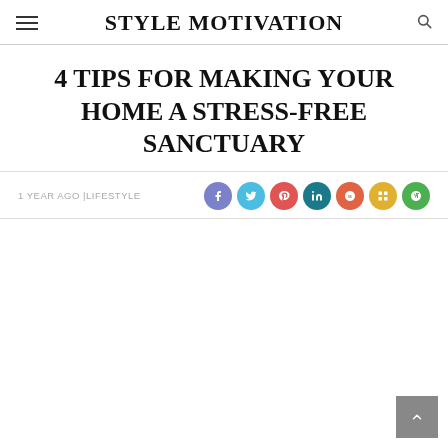STYLE MOTIVATION
4 TIPS FOR MAKING YOUR HOME A STRESS-FREE SANCTUARY
1 YEAR AGO | LIFESTYLE
[Figure (other): Row of 7 social media sharing icon circles: Facebook (purple), Twitter (cyan), Pinterest (red), LinkedIn (teal), Google+ (orange-red), Bloglovin (yellow), WordPress (green)]